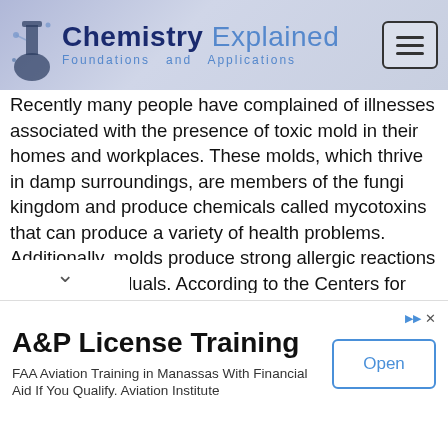Chemistry Explained Foundations and Applications
Recently many people have complained of illnesses associated with the presence of toxic mold in their homes and workplaces. These molds, which thrive in damp surroundings, are members of the fungi kingdom and produce chemicals called mycotoxins that can produce a variety of health problems. Additionally, molds produce strong allergic reactions in some individuals. According to the Centers for Disease Control and Prevention (CDC), little strong evidence exists that can tie all of the health problems seen in damp or flooded areas to molds, but the CDC also recommends that one should repair leaking plumbing and all other causes of damp environments as soon as they occur.
[Figure (other): Advertisement banner: A&P License Training - FAA Aviation Training in Manassas With Financial Aid If You Qualify. Aviation Institute. With an Open button.]